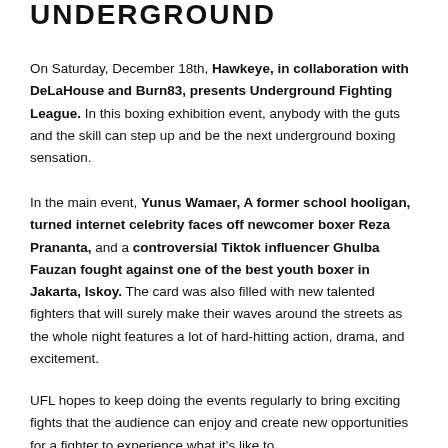UNDERGROUND
On Saturday, December 18th, Hawkeye, in collaboration with DeLaHouse and Burn83, presents Underground Fighting League. In this boxing exhibition event, anybody with the guts and the skill can step up and be the next underground boxing sensation.
In the main event, Yunus Wamaer, A former school hooligan, turned internet celebrity faces off newcomer boxer Reza Prananta, and a controversial Tiktok influencer Ghulba Fauzan fought against one of the best youth boxer in Jakarta, Iskoy. The card was also filled with new talented fighters that will surely make their waves around the streets as the whole night features a lot of hard-hitting action, drama, and excitement.
UFL hopes to keep doing the events regularly to bring exciting fights that the audience can enjoy and create new opportunities for a fighter to experience what it's like to